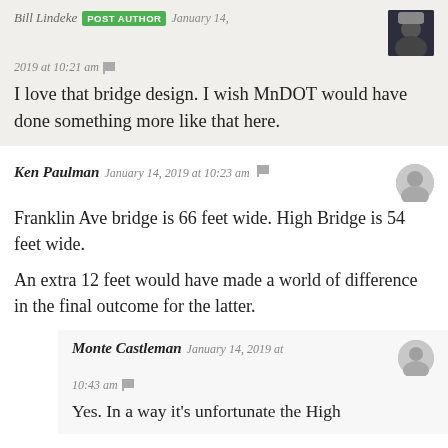Bill Lindeke POST AUTHOR January 14, 2019 at 10:21 am
I love that bridge design. I wish MnDOT would have done something more like that here.
Ken Paulman January 14, 2019 at 10:23 am
Franklin Ave bridge is 66 feet wide. High Bridge is 54 feet wide.

An extra 12 feet would have made a world of difference in the final outcome for the latter.
Monte Castleman January 14, 2019 at 10:43 am
Yes. In a way it's unfortunate the High